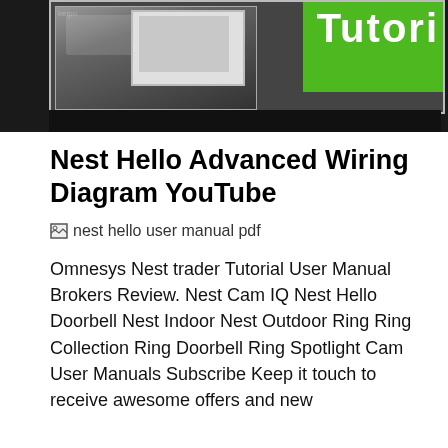[Figure (screenshot): Partial screenshot of a video thumbnail showing a device (likely a doorbell or security camera) against a dark background, with a green banner on the right showing partial text 'Tutori']
Nest Hello Advanced Wiring Diagram YouTube
[Figure (photo): Broken image placeholder with alt text 'nest hello user manual pdf']
Omnesys Nest trader Tutorial User Manual Brokers Review. Nest Cam IQ Nest Hello Doorbell Nest Indoor Nest Outdoor Ring Ring Collection Ring Doorbell Ring Spotlight Cam User Manuals Subscribe Keep it touch to receive awesome offers and new